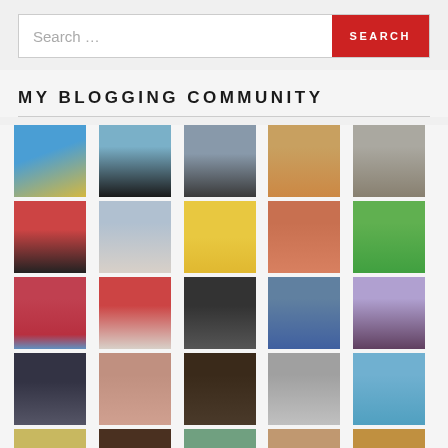[Figure (screenshot): Search bar with text input showing 'Search ...' placeholder and a red SEARCH button on the right]
MY BLOGGING COMMUNITY
[Figure (photo): Grid of 25+ avatar/profile photos from blogging community members arranged in 5 columns]